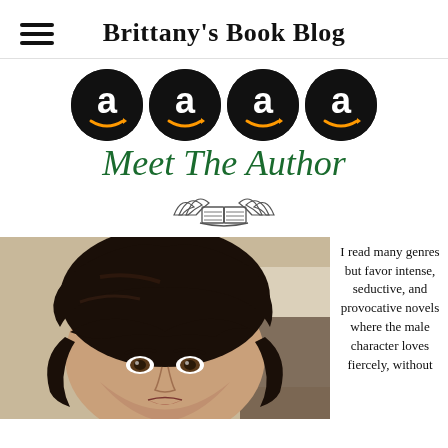Brittany's Book Blog
[Figure (logo): Four Amazon logo circles (black circles with white 'a' and arrow/smile) in a row]
Meet The Author
[Figure (illustration): Open book with wings decorative icon]
[Figure (photo): Close-up photo of a woman with dark curly hair and bangs, looking at camera]
I read many genres but favor intense, seductive, and provocative novels where the male character loves fiercely, without